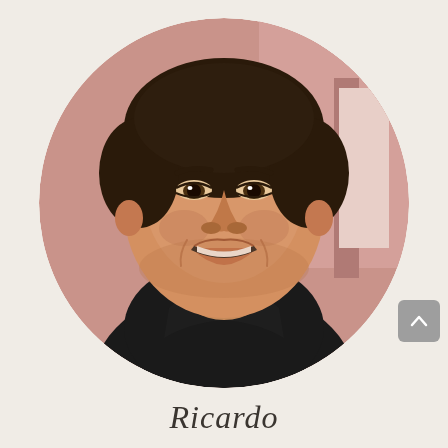[Figure (photo): Circular cropped photo of a smiling man with short dark hair wearing a black hoodie, in front of a pink/mauve blurred background]
Ricardo